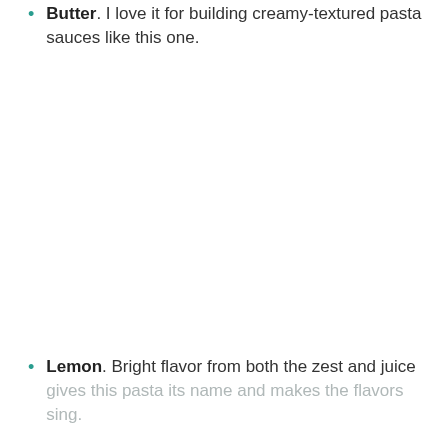Butter. I love it for building creamy-textured pasta sauces like this one.
Lemon. Bright flavor from both the zest and juice gives this pasta its name and makes the flavors sing.